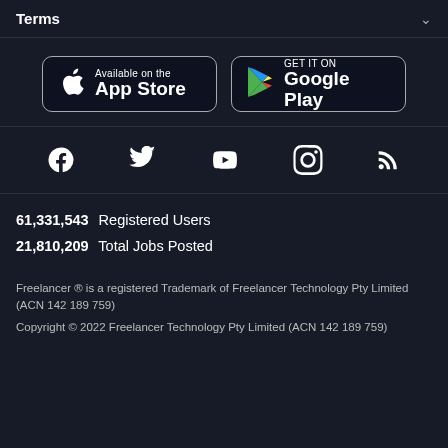Terms
[Figure (logo): App Store and Google Play download buttons]
[Figure (infographic): Social media icons: Facebook, Twitter, YouTube, Instagram, RSS]
61,331,543  Registered Users
21,810,209  Total Jobs Posted
Freelancer ® is a registered Trademark of Freelancer Technology Pty Limited (ACN 142 189 759)
Copyright © 2022 Freelancer Technology Pty Limited (ACN 142 189 759)